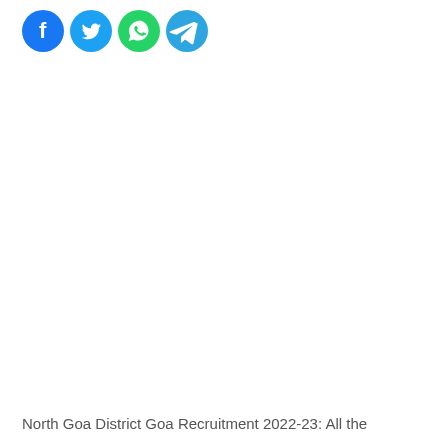[Figure (illustration): Four social media share icons in a row: Facebook (blue circle with white F), Twitter (light blue circle with white bird), WhatsApp (green circle with white phone handset), Telegram (blue circle with white paper plane)]
North Goa District Goa Recruitment 2022-23: All the